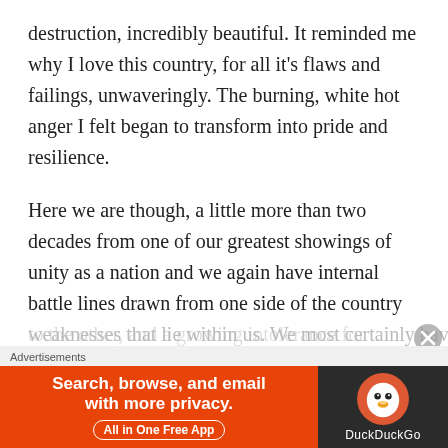destruction, incredibly beautiful. It reminded me why I love this country, for all it's flaws and failings, unwaveringly. The burning, white hot anger I felt began to transform into pride and resilience.
Here we are though, a little more than two decades from one of our greatest showings of unity as a nation and we again have internal battle lines drawn from one side of the country to the other, and a growing intolerance for anyone whose beliefs don't align with our own. We seem to have forgotten that we are all fallible and fight battles others know nothing of, while they do the same. We have forgotten the heroism, the strengths, and the
Advertisements
[Figure (infographic): DuckDuckGo advertisement banner with orange left panel saying 'Search, browse, and email with more privacy. All in One Free App' and dark right panel with DuckDuckGo logo and name.]